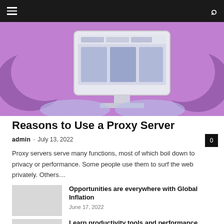Navigation bar with hamburger menu and search icon
[Figure (illustration): Purple background illustration showing a desktop computer monitor with browser windows/tabs displayed on screen, with decorative curved shapes on either side]
Reasons to Use a Proxy Server
admin - July 13, 2022  0
Proxy servers serve many functions, most of which boil down to privacy or performance. Some people use them to surf the web privately. Others...
Opportunities are everywhere with Global Inflation
June 17, 2022
Learn productivity tools and performance